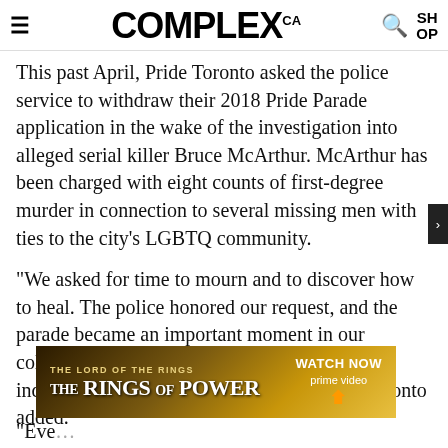COMPLEX CA
This past April, Pride Toronto asked the police service to withdraw their 2018 Pride Parade application in the wake of the investigation into alleged serial killer Bruce McArthur. McArthur has been charged with eight counts of first-degree murder in connection to several missing men with ties to the city's LGBTQ community.
“We asked for time to mourn and to discover how to heal. The police honored our request, and the parade became an important moment in our collective expression of resilience and our individual expressions of heartache,” Pride Toronto added.
[Figure (screenshot): THE LORD OF THE RINGS THE RINGS OF POWER WATCH NOW prime video advertisement banner with golden/dark background]
“Eve... Poli...